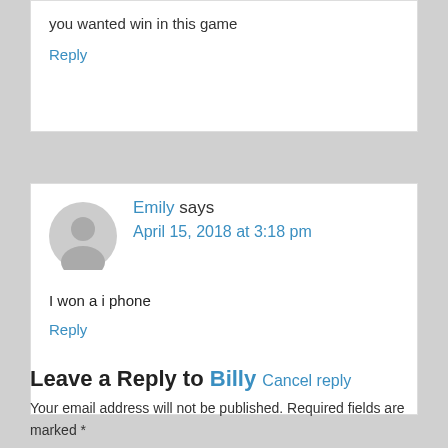you wanted win in this game
Reply
Emily says
April 15, 2018 at 3:18 pm
I won a i phone
Reply
Leave a Reply to Billy  Cancel reply
Your email address will not be published. Required fields are marked *